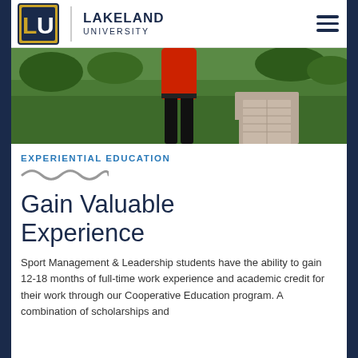[Figure (logo): Lakeland University LU logo with university name and hamburger menu]
[Figure (photo): Person in red shirt and black pants standing on grass near a brick pathway, viewed from behind]
EXPERIENTIAL EDUCATION
Gain Valuable Experience
Sport Management & Leadership students have the ability to gain 12-18 months of full-time work experience and academic credit for their work through our Cooperative Education program. A combination of scholarships and